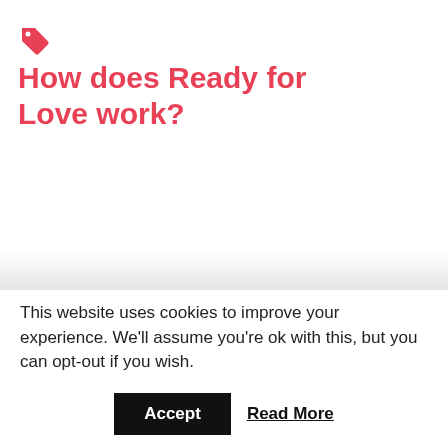How does Ready for Love work?
This website uses cookies to improve your experience. We'll assume you're ok with this, but you can opt-out if you wish.
Accept   Read More